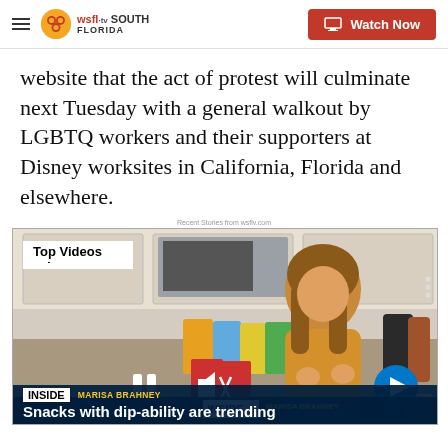WSFL-TV South Florida | Watch Now
website that the act of protest will culminate next Tuesday with a general walkout by LGBTQ workers and their supporters at Disney worksites in California, Florida and elsewhere.
Recent Stories from wsflv.com
[Figure (screenshot): Video player showing a woman in a kitchen with snack products on the counter. Overlay shows 'Top Videos' badge, pause and mute controls, next arrow button, lower bar with INSIDE badge, MARISA BRAHNEY name, and headline 'Snacks with dip-ability are trending']